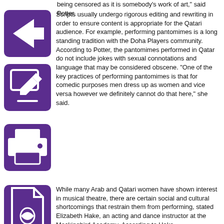being censored as it is somebody’s work of art,” said Potter.
Scripts usually undergo rigorous editing and rewriting in order to ensure content is appropriate for the Qatari audience. For example, performing pantomimes is a long standing tradition with the Doha Players community. According to Potter, the pantomimes performed in Qatar do not include jokes with sexual connotations and language that may be considered obscene. “One of the key practices of performing pantomimes is that for comedic purposes men dress up as women and vice versa however we definitely cannot do that here,” she said.
While many Arab and Qatari women have shown interest in musical theatre, there are certain social and cultural shortcomings that restrain them from performing, stated Elizabeth Hake, an acting and dance instructor at the Mockingbird Academy. According to Hake, local women are eager for their children to get involved in performing arts and even show interest themselves, however, their social commitments restrict them from doing so.
In William’s experience, social expectations have constrained many Qatari women from performing on stage regardless of their participation and interest. “Even after rehearsing tirelessly, some of the girls towards the end of the project were not able to perform on stage and decided to take roles backstage, but nevertheless, they were involved and loved being involved,” said Williams.